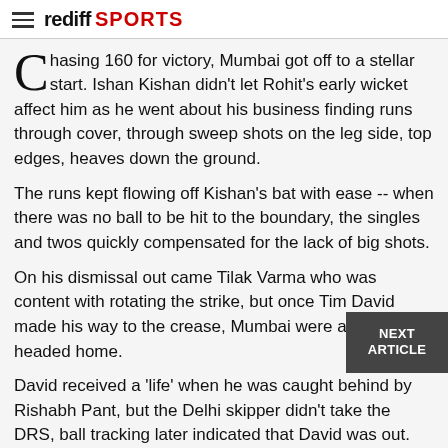rediff SPORTS
Chasing 160 for victory, Mumbai got off to a stellar start. Ishan Kishan didn't let Rohit's early wicket affect him as he went about his business finding runs through cover, through sweep shots on the leg side, top edges, heaves down the ground.
The runs kept flowing off Kishan's bat with ease -- when there was no ball to be hit to the boundary, the singles and twos quickly compensated for the lack of big shots.
On his dismissal out came Tilak Varma who was content with rotating the strike, but once Tim David made his way to the crease, Mumbai were all but headed home.
David received a 'life' when he was caught behind by Rishabh Pant, but the Delhi skipper didn't take the DRS, ball tracking later indicated that David was out.
The Singapore cricketer got off the mark with a six, that was enough motivation as he kept clobbering Anrich Nortje, Shardul Thakur and Khaleel Ahmed for the